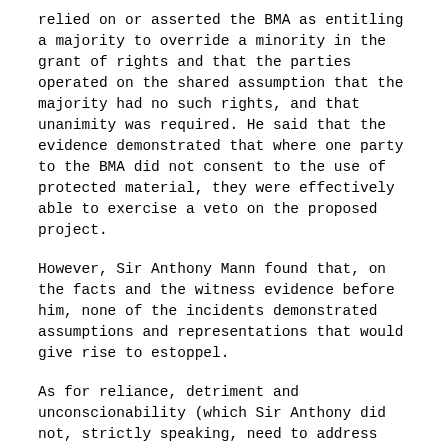relied on or asserted the BMA as entitling a majority to override a minority in the grant of rights and that the parties operated on the shared assumption that the majority had no such rights, and that unanimity was required. He said that the evidence demonstrated that where one party to the BMA did not consent to the use of protected material, they were effectively able to exercise a veto on the proposed project.
However, Sir Anthony Mann found that, on the facts and the witness evidence before him, none of the incidents demonstrated assumptions and representations that would give rise to estoppel.
As for reliance, detriment and unconscionability (which Sir Anthony did not, strictly speaking, need to address given his findings on assumptions and representations, but which he did in any event as he had received submissions on the topic), Sir Anthony said that there was no real pleading as to what the detriment was. Mr Lydon applied to amend his pleading to argue that in reliance on a belief that unanimity was required, he had invested significant time and effort, on the basis that he had a veto, in considering licence applications and granting or refusing consent, and that he would not have done this had he known that he could be